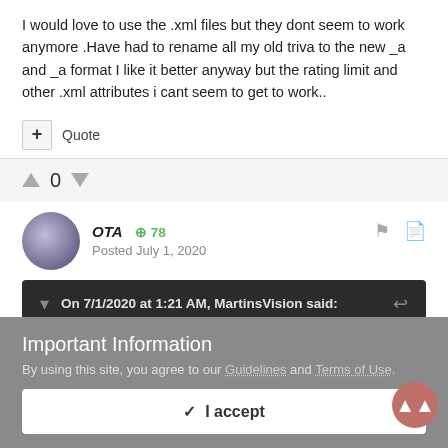I would love to use the .xml files but they dont seem to work anymore .Have had to rename all my old triva to the new _a and _a format I like it better anyway but the rating limit and other .xml attributes i cant seem to get to work..
+ Quote
0
OTA  +78
Posted July 1, 2020
On 7/1/2020 at 1:21 AM, MartinsVision said:
Important Information
By using this site, you agree to our Guidelines and Terms of Use.
✓  I accept